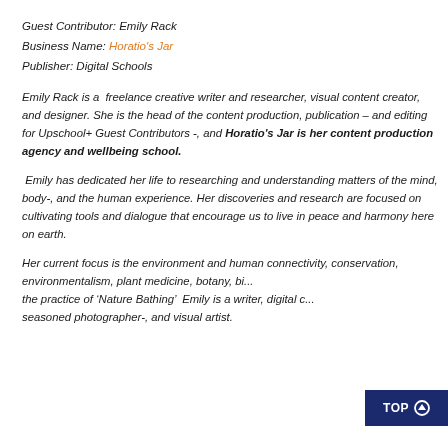Guest Contributor: Emily Rack
Business Name: Horatio's Jar
Publisher: Digital Schools
Emily Rack is a  freelance creative writer and researcher, visual content creator, and designer. She is the head of the content production, publication – and editing for Upschool+ Guest Contributors -, and Horatio's Jar is her content production agency and wellbeing school.
Emily has dedicated her life to researching and understanding matters of the mind, body-, and the human experience. Her discoveries and research are focused on cultivating tools and dialogue that encourage us to live in peace and harmony here on earth.
Her current focus is the environment and human connectivity, conservation, environmentalism, plant medicine, botany, bi... the practice of ‘Nature Bathing’  Emily is a writer, digital c... seasoned photographer-, and visual artist.